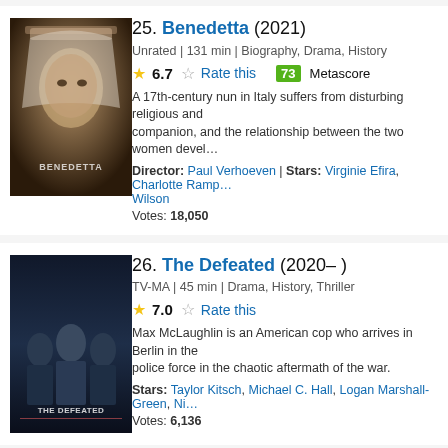[Figure (photo): Movie poster for Benedetta (2021) showing a woman in a white nun's habit]
25. Benedetta (2021)
Unrated | 131 min | Biography, Drama, History
6.7  Rate this  73 Metascore
A 17th-century nun in Italy suffers from disturbing religious and companion, and the relationship between the two women devel...
Director: Paul Verhoeven | Stars: Virginie Efira, Charlotte Ramp... Wilson
Votes: 18,050
[Figure (photo): Movie poster for The Defeated (2020-) showing several people in dark tones]
26. The Defeated (2020– )
TV-MA | 45 min | Drama, History, Thriller
7.0  Rate this
Max McLaughlin is an American cop who arrives in Berlin in the police force in the chaotic aftermath of the war.
Stars: Taylor Kitsch, Michael C. Hall, Logan Marshall-Green, Ni...
Votes: 6,136
[Figure (photo): Movie poster for Lupin (2021-) with dark background and orange tones]
27. Lupin (2021– )
TV-MA | 45 min | Action, Crime, Drama